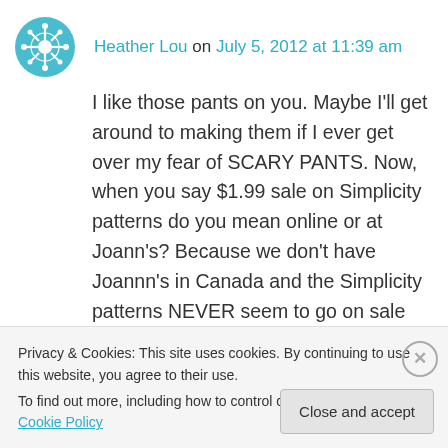Heather Lou on July 5, 2012 at 11:39 am
I like those pants on you. Maybe I'll get around to making them if I ever get over my fear of SCARY PANTS. Now, when you say $1.99 sale on Simplicity patterns do you mean online or at Joann's? Because we don't have Joannn's in Canada and the Simplicity patterns NEVER seem to go on sale online. Seems McCalls/Vogue does a big sale every other month or so and the best sale I've seen on the
Privacy & Cookies: This site uses cookies. By continuing to use this website, you agree to their use.
To find out more, including how to control cookies, see here: Cookie Policy